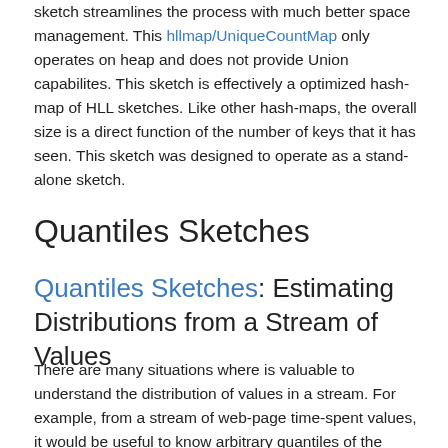sketch streamlines the process with much better space management. This hllmap/UniqueCountMap only operates on heap and does not provide Union capabilites. This sketch is effectively a optimized hash-map of HLL sketches. Like other hash-maps, the overall size is a direct function of the number of keys that it has seen. This sketch was designed to operate as a stand-alone sketch.
Quantiles Sketches
Quantiles Sketches: Estimating Distributions from a Stream of Values
There are many situations where is valuable to understand the distribution of values in a stream. For example, from a stream of web-page time-spent values, it would be useful to know arbitrary quantiles of the distribution, such as the 25th percentile value, the median value and the 75th percentile value. The